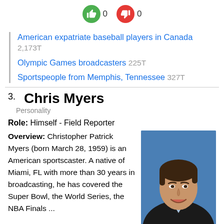[Figure (infographic): Thumbs up (green) showing 0, thumbs down (red) showing 0]
American expatriate baseball players in Canada 2,173T
Olympic Games broadcasters 225T
Sportspeople from Memphis, Tennessee 327T
3. Chris Myers
Personality
Role: Himself - Field Reporter
Overview: Christopher Patrick Myers (born March 28, 1959) is an American sportscaster. A native of Miami, FL with more than 30 years in broadcasting, he has covered the Super Bowl, the World Series, the NBA Finals ...
[Figure (photo): Professional headshot of Chris Myers, smiling man in dark suit with light blue shirt, blue background]
Date of birth: 28 March 1959